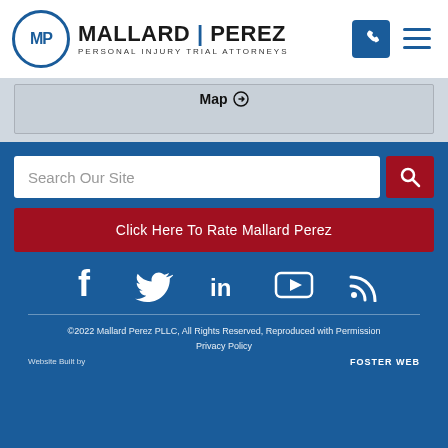[Figure (logo): Mallard Perez Personal Injury Trial Attorneys logo with MP circle emblem]
[Figure (screenshot): Map embed area with 'Map' link]
Search Our Site
Click Here To Rate Mallard Perez
[Figure (infographic): Social media icons: Facebook, Twitter, LinkedIn, YouTube, RSS]
©2022 Mallard Perez PLLC, All Rights Reserved, Reproduced with Permission
Privacy Policy
Website Built by ... FOSTER WEB